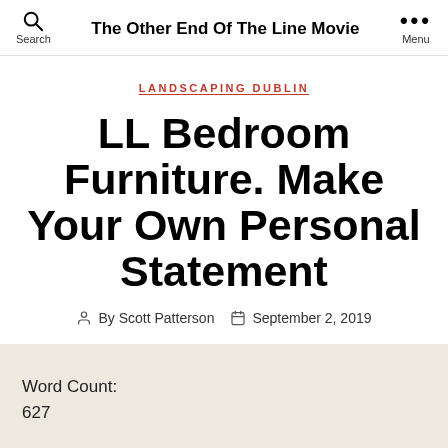Search | The Other End Of The Line Movie | Menu
LANDSCAPING DUBLIN
LL Bedroom Furniture. Make Your Own Personal Statement
By Scott Patterson   September 2, 2019
Word Count:
627